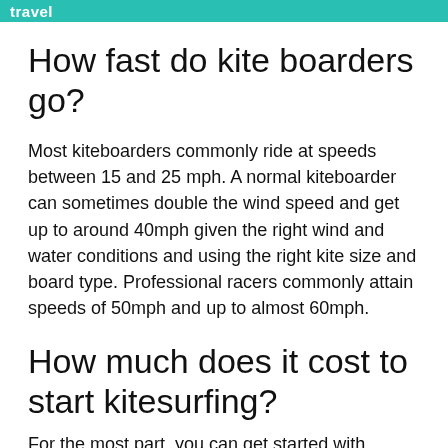travel
How fast do kite boarders go?
Most kiteboarders commonly ride at speeds between 15 and 25 mph. A normal kiteboarder can sometimes double the wind speed and get up to around 40mph given the right wind and water conditions and using the right kite size and board type. Professional racers commonly attain speeds of 50mph and up to almost 60mph.
How much does it cost to start kitesurfing?
For the most part, you can get started with